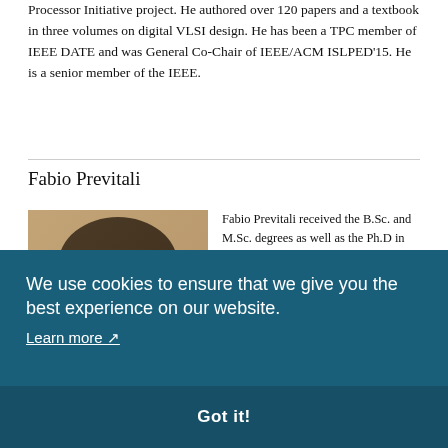Processor Initiative project. He authored over 120 papers and a textbook in three volumes on digital VLSI design. He has been a TPC member of IEEE DATE and was General Co-Chair of IEEE/ACM ISLPED'15. He is a senior member of the IEEE.
Fabio Previtali
[Figure (photo): Headshot photo of Fabio Previtali, a man with dark medium-length hair wearing glasses]
Fabio Previtali received the B.Sc. and M.Sc. degrees as well as the Ph.D in Computer Engineering from Sapienza University of Rome in 2009, 2011 and 2016 respectively. During his Ph.D, Fabio was abroad ... of ... sion of ... orthy. ... ct & ... A ... are ... life-
papers/articles both in International Conferences and Journals, with 130+
We use cookies to ensure that we give you the best experience on our website. Learn more
Got it!